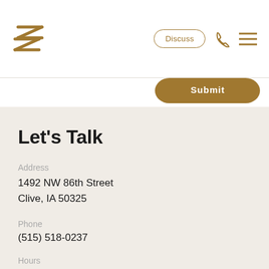[Figure (logo): Stylized double-Z logo in gold/brown color]
Discuss
[Figure (illustration): Submit button partially visible, gold/brown rounded rectangle]
Let's Talk
Address
1492 NW 86th Street
Clive, IA 50325
Phone
(515) 518-0237
Hours
Mon-Sat: 8am - 7pm
Sun: 8am - 5pm